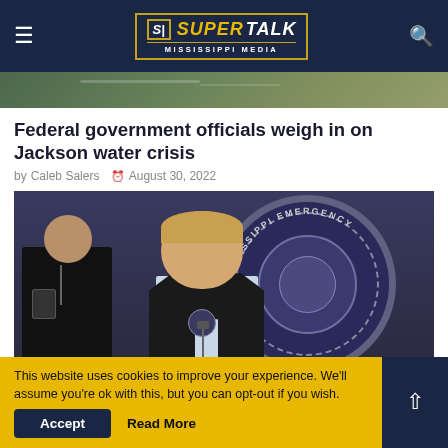SuperTalk Mississippi Media
[Figure (photo): Partial view of a building or structure, top image strip]
Federal government officials weigh in on Jackson water crisis
by Caleb Salers  August 30, 2022
[Figure (photo): Press conference photo showing two men standing in front of a Mississippi Emergency Management seal backdrop. The man on the left wears a dark vest with a badge/lanyard. The man in the center foreground speaks at a microphone, wearing a light blue shirt under a dark vest with a seal logo.]
This website uses cookies to improve your experience. We'll assume you're ok with this, but you can opt-out if you wish.